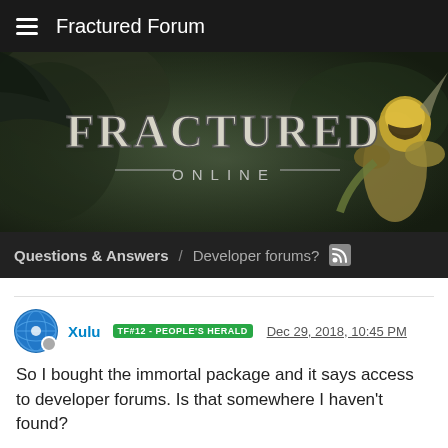Fractured Forum
[Figure (illustration): Fractured Online game banner with dark forest background and armored character, showing 'FRACTURED ONLINE' logo]
Questions & Answers / Developer forums?
Xulu TF#12 - PEOPLE'S HERALD Dec 29, 2018, 10:45 PM
So I bought the immortal package and it says access to developer forums. Is that somewhere I haven't found?